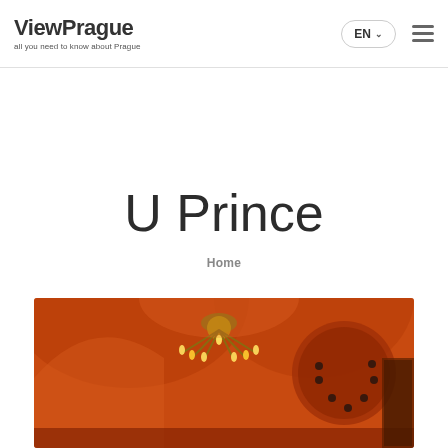ViewPrague — all you need to know about Prague
U Prince
Home
[Figure (photo): Interior photo of U Prince restaurant/hotel showing ornate orange-red arched ceilings with a gold chandelier and decorative architecture]